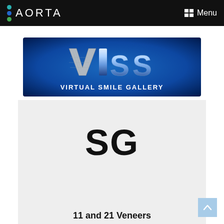AORTA  Menu
[Figure (logo): VISSI Virtual Smile Gallery banner with blue gradient background and metallic 3D letters VISSI above the text VIRTUAL SMILE GALLERY]
[Figure (other): Light grey placeholder box with large bold initials SG centered]
11 and 21 Veneers